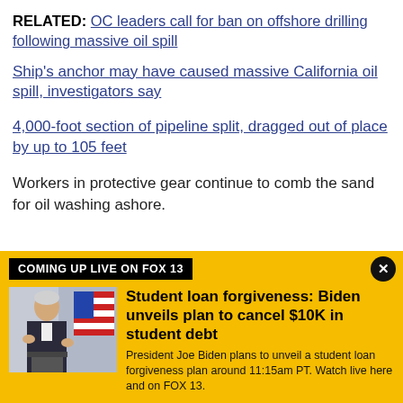RELATED: OC leaders call for ban on offshore drilling following massive oil spill
Ship's anchor may have caused massive California oil spill, investigators say
4,000-foot section of pipeline split, dragged out of place by up to 105 feet
Workers in protective gear continue to comb the sand for oil washing ashore.
COMING UP LIVE ON FOX 13
[Figure (photo): Person speaking at podium with American flag in background]
Student loan forgiveness: Biden unveils plan to cancel $10K in student debt
President Joe Biden plans to unveil a student loan forgiveness plan around 11:15am PT. Watch live here and on FOX 13.